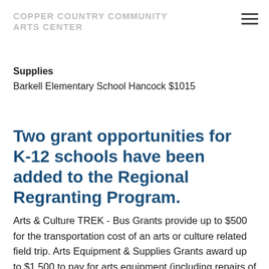COPPER COUNTRY COMMUNITY ARTS CENTER
Supplies
Barkell Elementary School Hancock $1015
Two grant opportunities for K-12 schools have been added to the Regional Regranting Program.
Arts & Culture TREK - Bus Grants provide up to $500 for the transportation cost of an arts or culture related field trip. Arts Equipment & Supplies Grants award up to $1,500 to pay for arts equipment (including repairs of arts equipment) or supplies being used within the classroom/school